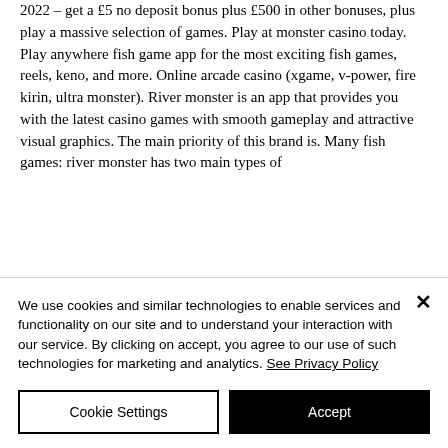2022 – get a £5 no deposit bonus plus £500 in other bonuses, plus play a massive selection of games. Play at monster casino today. Play anywhere fish game app for the most exciting fish games, reels, keno, and more. Online arcade casino (xgame, v-power, fire kirin, ultra monster). River monster is an app that provides you with the latest casino games with smooth gameplay and attractive visual graphics. The main priority of this brand is. Many fish games: river monster has two main types of
We use cookies and similar technologies to enable services and functionality on our site and to understand your interaction with our service. By clicking on accept, you agree to our use of such technologies for marketing and analytics. See Privacy Policy
Cookie Settings
Accept